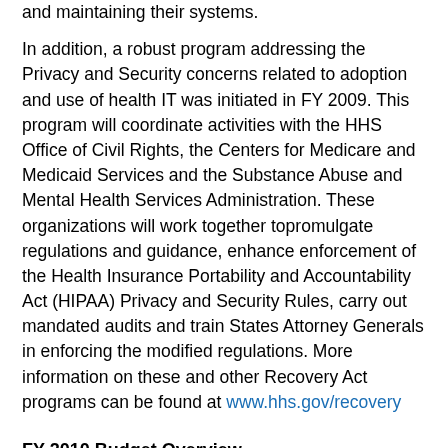and maintaining their systems.
In addition, a robust program addressing the Privacy and Security concerns related to adoption and use of health IT was initiated in FY 2009. This program will coordinate activities with the HHS Office of Civil Rights, the Centers for Medicare and Medicaid Services and the Substance Abuse and Mental Health Services Administration. These organizations will work together topromulgate regulations and guidance, enhance enforcement of the Health Insurance Portability and Accountability Act (HIPAA) Privacy and Security Rules, carry out mandated audits and train States Attorney Generals in enforcing the modified regulations. More information on these and other Recovery Act programs can be found at www.hhs.gov/recovery
FY 2010 Budget Overview
The FY 2010 President's Budget for ONC is $61,342,000 including $19,011,000 in Public Health Evaluation Funds to maintain current service levels. It is an increase of $111,000 above an FY 2009 Omnibus level. This budget supports the implementation of the ONC Coordinated Federal Health IT